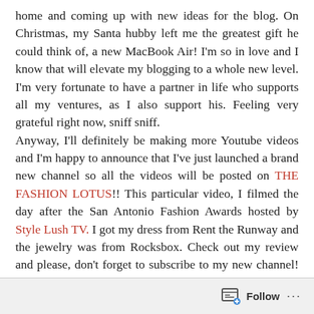home and coming up with new ideas for the blog. On Christmas, my Santa hubby left me the greatest gift he could think of, a new MacBook Air! I'm so in love and I know that will elevate my blogging to a whole new level. I'm very fortunate to have a partner in life who supports all my ventures, as I also support his. Feeling very grateful right now, sniff sniff.
Anyway, I'll definitely be making more Youtube videos and I'm happy to announce that I've just launched a brand new channel so all the videos will be posted on THE FASHION LOTUS!! This particular video, I filmed the day after the San Antonio Fashion Awards hosted by Style Lush TV. I got my dress from Rent the Runway and the jewelry was from Rocksbox. Check out my review and please, don't forget to subscribe to my new channel! So much to come; next year will be EPIC!
HAPPY NEW YEAR, LOTUSES!
*Free first month of Rocksbox with my Special Code JEANELLYBFF*
Follow ...